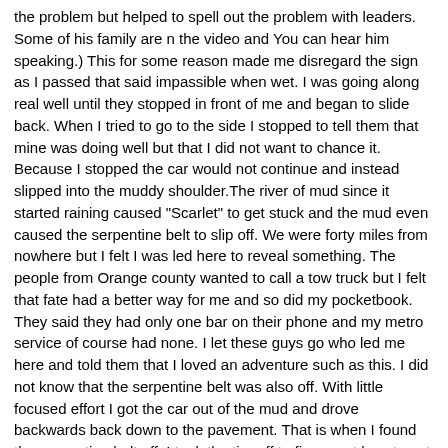the problem but helped to spell out the problem with leaders. Some of his family are n the video and You can hear him speaking.) This for some reason made me disregard the sign as I passed that said impassible when wet. I was going along real well until they stopped in front of me and began to slide back. When I tried to go to the side I stopped to tell them that mine was doing well but that I did not want to chance it. Because I stopped the car would not continue and instead slipped into the muddy shoulder.The river of mud since it started raining caused "Scarlet" to get stuck and the mud even caused the serpentine belt to slip off. We were forty miles from nowhere but I felt I was led here to reveal something. The people from Orange county wanted to call a tow truck but I felt that fate had a better way for me and so did my pocketbook. They said they had only one bar on their phone and my metro service of course had none. I let these guys go who led me here and told them that I loved an adventure such as this. I did not know that the serpentine belt was also off. With little focused effort I got the car out of the mud and drove backwards back down to the pavement. That is when I found the serpentine belt off. I took the tire off to figure out how to get it back on but it was too muddy and cold and it started to hail. I felt this meant I should put the tire back on and drive up to where Juan worked on the farm as he said I could use the hose there. After washing it off I found I could not remember how the serpentine belt went back on as it was very difficult. Here is a picture of it. I determined I had to get a diagram but there was no reception except in one spot and with Juan's phone and only one bar. I called a friend Harold who got on the computer and got the diagram while I drew a pic of the different connections he talked me through how they connect starting with the tensioner in the middle. Without that one bar and without that info I would have been camping out there for a while. Everything came together though it was much more on the edge than I can explain here. Anyway after the ordeal I